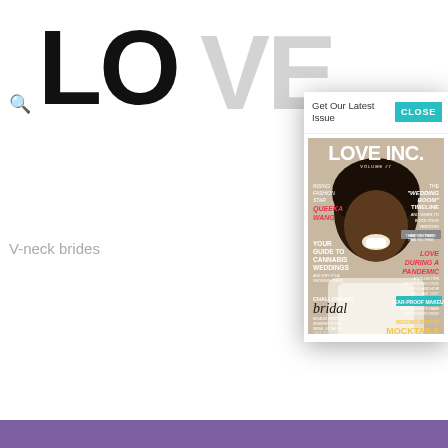[Figure (screenshot): Website header with large bold 'LO' logo text (part of 'LOVE INC.' masthead) partially visible, search icon on left, and gray subtext 'V-neck brides' partially visible. Purple strip at very bottom.]
Get Our Latest Issue
CLOSE
[Figure (photo): LOVE INC. magazine cover featuring a smiling Black man with an afro. Cover lines include: RISING FASHION STAR QUEEKA WANG, THE WEDDING BOOM TIMELINE AND WHEN TO BOOK YOUR VENDORS, YOUR GUIDE TO CANNABIS WEDDINGS AND WHY IT'S A GROWING TREND, CHALLENGING bridal BECAUSE EVERYONE DESERVES TO FEEL BRIDAL NO MATTER THEIR GENDER, LOVE DURING A PANDEMIC A COLLECTION CELEBRATING COVID COUPLES AND HOW THEY SAID I DO, TEAR-PROOF MAKEUP BEAUTY EXPERTS SHARE THEIR PRODUCT PICKS, WEDDING WORTHY MOCKTAILS. Volume #7.]